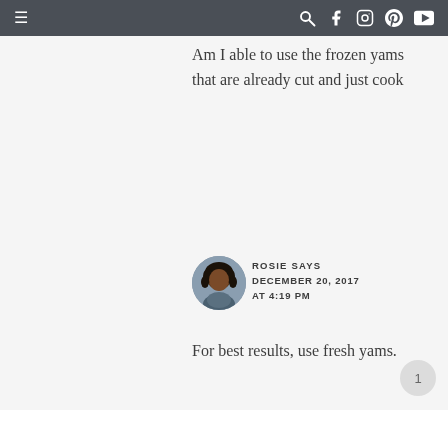≡  🔍 f 📷 𝗽 ▶
Am I able to use the frozen yams that are already cut and just cook
[Figure (photo): Profile photo of a woman with curly hair]
ROSIE SAYS
DECEMBER 20, 2017 AT 4:19 PM
For best results, use fresh yams.